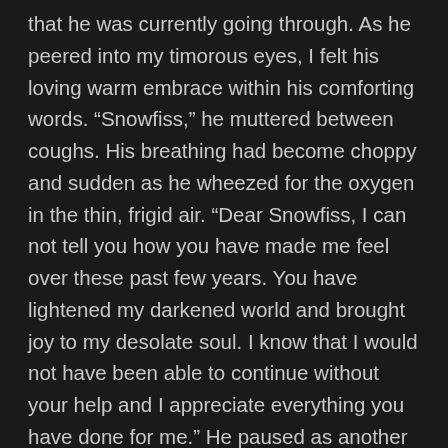that he was currently going through. As he peered into my timorous eyes, I felt his loving warm embrace within his comforting words. “Snowfiss,” he muttered between coughs. His breathing had become choppy and sudden as he wheezed for the oxygen in the thin, frigid air. “Dear Snowfiss, I can not tell you how you have made me feel over these past few years. You have lightened my darkened world and brought joy to my desolate soul. I know that I would not have been able to continue without your help and I appreciate everything you have done for me.” He paused as another storm of coughs came, and I felt the tears beginning to swell within my eyes. I turned my head to hide my woe from him as the snowy ground became blurred. “Please, please do not let this stop you. You are strong Snowfiss, for you have come this far. You can make it through the winters and survive on your own.”